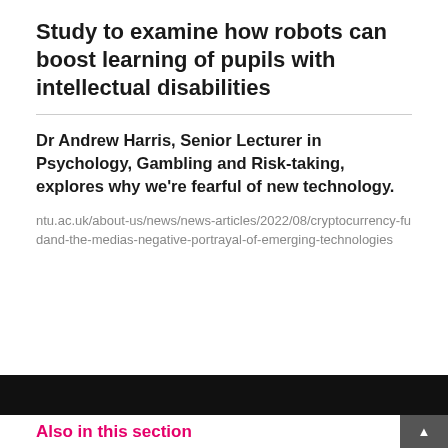Study to examine how robots can boost learning of pupils with intellectual disabilities
Dr Andrew Harris, Senior Lecturer in Psychology, Gambling and Risk-taking, explores why we're fearful of new technology.
ntu.ac.uk/about-us/news/news-articles/2022/08/cryptocurrency-fudand-the-medias-negative-portrayal-of-emerging-technologies
Also in this section